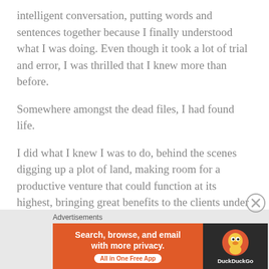intelligent conversation, putting words and sentences together because I finally understood what I was doing. Even though it took a lot of trial and error, I was thrilled that I knew more than before.
Somewhere amongst the dead files, I had found life.
I did what I knew I was to do, behind the scenes digging up a plot of land, making room for a productive venture that could function at its highest, bringing great benefits to the clients under the company's care and even myself in some ways I had not imagined at the onset.
To leave that behind wasn't easy. But, again, I started to hear that voice telling me there was something else I
Advertisements
[Figure (other): DuckDuckGo advertisement banner: 'Search, browse, and email with more privacy. All in One Free App' with DuckDuckGo logo on dark background.]